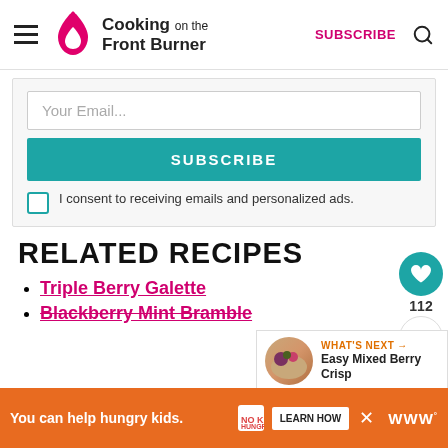Cooking on the Front Burner — SUBSCRIBE
Your Email...
SUBSCRIBE
I consent to receiving emails and personalized ads.
RELATED RECIPES
Triple Berry Galette
Blackberry Mint Bramble
[Figure (other): What's Next: Easy Mixed Berry Crisp thumbnail with food photo]
112
You can help hungry kids. NO KID HUNGRY LEARN HOW